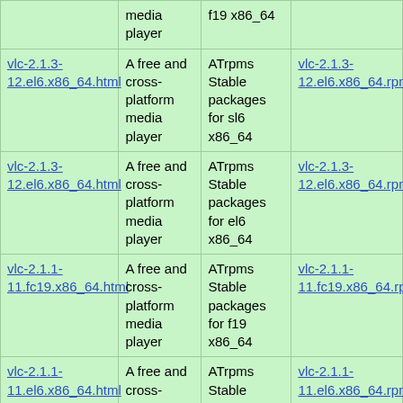| Link | Description | Repository | RPM |
| --- | --- | --- | --- |
|  | media player | f19 x86_64 |  |
| vlc-2.1.3-12.el6.x86_64.html | A free and cross-platform media player | ATrpms Stable packages for sl6 x86_64 | vlc-2.1.3-12.el6.x86_64.rpm |
| vlc-2.1.3-12.el6.x86_64.html | A free and cross-platform media player | ATrpms Stable packages for el6 x86_64 | vlc-2.1.3-12.el6.x86_64.rpm |
| vlc-2.1.1-11.fc19.x86_64.html | A free and cross-platform media player | ATrpms Stable packages for f19 x86_64 | vlc-2.1.1-11.fc19.x86_64.rpm |
| vlc-2.1.1-11.el6.x86_64.html | A free and cross-platform media player | ATrpms Stable packages for sl6 x86_64 | vlc-2.1.1-11.el6.x86_64.rpm |
| vlc-2.1.1- | A free and cross- | ATrpms Stable | vlc-2.1.1- |